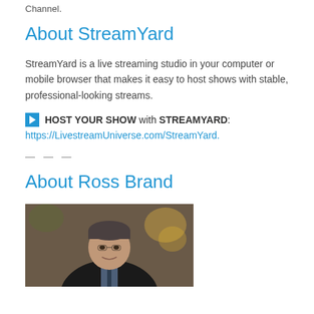Channel.
About StreamYard
StreamYard is a live streaming studio in your computer or mobile browser that makes it easy to host shows with stable, professional-looking streams.
▶ HOST YOUR SHOW with STREAMYARD:
https://LivestreamUniverse.com/StreamYard.
— — —
About Ross Brand
[Figure (photo): Headshot photo of Ross Brand, a middle-aged man with grey-dark hair wearing a dark suit and blue shirt, smiling, indoor background.]